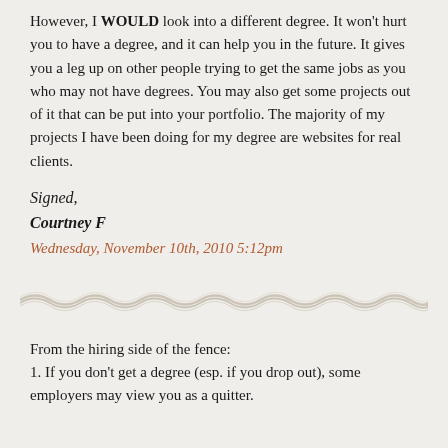However, I WOULD look into a different degree. It won't hurt you to have a degree, and it can help you in the future. It gives you a leg up on other people trying to get the same jobs as you who may not have degrees. You may also get some projects out of it that can be put into your portfolio. The majority of my projects I have been doing for my degree are websites for real clients.
Signed,
Courtney F
Wednesday, November 10th, 2010 5:12pm
[Figure (illustration): Decorative wavy horizontal divider line in muted tan/grey tones]
From the hiring side of the fence:
1. If you don't get a degree (esp. if you drop out), some employers may view you as a quitter.